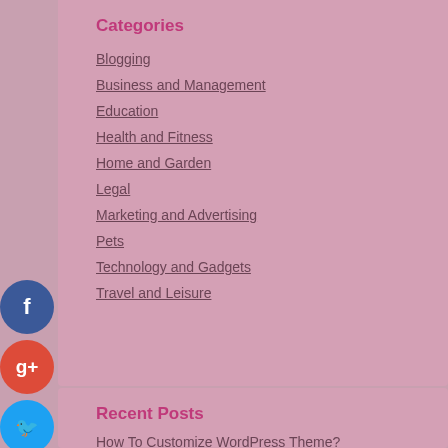Categories
Blogging
Business and Management
Education
Health and Fitness
Home and Garden
Legal
Marketing and Advertising
Pets
Technology and Gadgets
Travel and Leisure
Recent Posts
How To Customize WordPress Theme?
5 Tips For Finding The Best Storage Cabinets